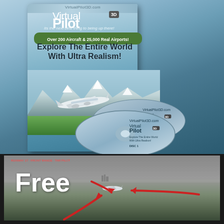[Figure (photo): Virtual Pilot 3D software box with two DVDs. Box shows 'VirtualPilot3D.com', 'Virtual Pilot 3D' title, tagline 'Its the next best thing to being up there!', green banner 'Over 200 Aircraft & 25,000 Real Airports!', headline 'Explore The Entire World With Ultra Realism!', and an airplane over mountains. Two branded DVDs shown in front of box.]
[Figure (screenshot): Flight simulator screenshot with dark border. Shows aerial view of landscape with small aircraft in center. Large white 'Free' text overlaid on left side. Two red curved arrows pointing toward the aircraft.]